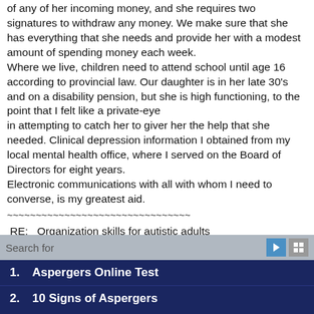of any of her incoming money, and she requires two signatures to withdraw any money. We make sure that she has everything that she needs and provide her with a modest amount of spending money each week. Where we live, children need to attend school until age 16 according to provincial law. Our daughter is in her late 30's and on a disability pension, but she is high functioning, to the point that I felt like a private-eye in attempting to catch her to giver her the help that she needed. Clinical depression information I obtained from my local mental health office, where I served on the Board of Directors for eight years. Electronic communications with all with whom I need to converse, is my greatest aid.
~~~~~~~~~~~~~~~~~~~~~~~~~~~~~~~~
RE:   Organization skills for autistic adults
http://www.adultaspergerschat.com/2013/06/organization-skills-for-autistic-adults.html
Hello:
Search for
1.   Aspergers Online Test
2.   10 Signs of Aspergers